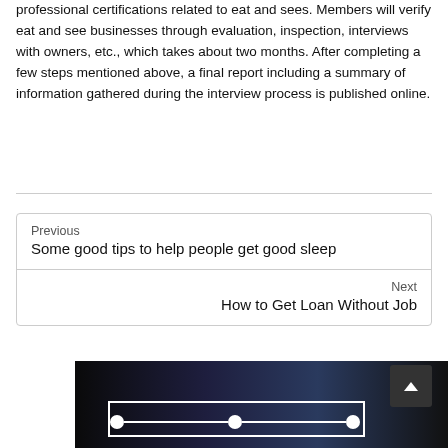professional certifications related to eat and sees. Members will verify eat and see businesses through evaluation, inspection, interviews with owners, etc., which takes about two months. After completing a few steps mentioned above, a final report including a summary of information gathered during the interview process is published online.
Previous
Some good tips to help people get good sleep
Next
How to Get Loan Without Job
[Figure (photo): A photo of a person wearing dark clothing, partially visible with a slider/carousel control overlay at the bottom. A back-to-top button (dark square with upward chevron) is visible on the right side.]